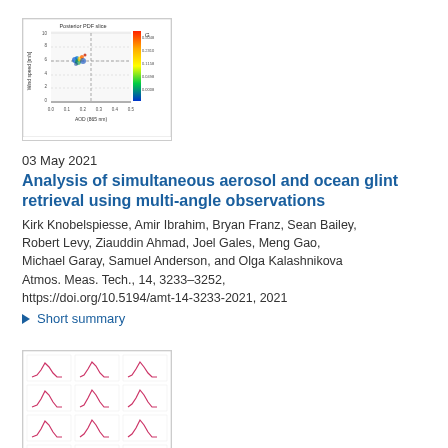[Figure (continuous-plot): Thumbnail showing a Posterior PDF slice chart with Wind speed [m/s] on y-axis (0-10) and AOD (865 nm) on x-axis (0.0-0.5), with a color scale legend on the right side labeled G.]
03 May 2021
Analysis of simultaneous aerosol and ocean glint retrieval using multi-angle observations
Kirk Knobelspiesse, Amir Ibrahim, Bryan Franz, Sean Bailey, Robert Levy, Ziauddin Ahmad, Joel Gales, Meng Gao, Michael Garay, Samuel Anderson, and Olga Kalashnikova
Atmos. Meas. Tech., 14, 3233–3252, https://doi.org/10.5194/amt-14-3233-2021, 2021
▶ Short summary
[Figure (other): Thumbnail showing a 3x4 grid of small distribution/histogram plots with pink/red curves on white background.]
04 May 2021